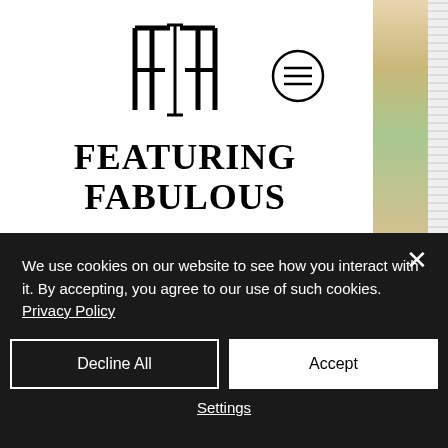[Figure (logo): Featuring Fabulous logo with stylized FF lettermark and brand name text]
Highly Meditated – A Journey to Mental...
406  10  17
We use cookies on our website to see how you interact with it. By accepting, you agree to our use of such cookies. Privacy Policy
Decline All
Accept
Settings